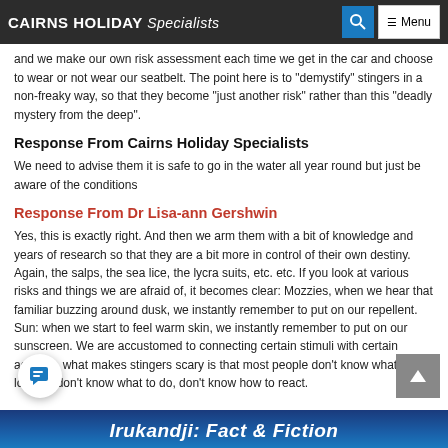CAIRNS HOLIDAY Specialists
and we make our own risk assessment each time we get in the car and choose to wear or not wear our seatbelt. The point here is to "demystify" stingers in a non-freaky way, so that they become "just another risk" rather than this "deadly mystery from the deep".
Response From Cairns Holiday Specialists
We need to advise them it is safe to go in the water all year round but just be aware of the conditions
Response From Dr Lisa-ann Gershwin
Yes, this is exactly right. And then we arm them with a bit of knowledge and years of research so that they are a bit more in control of their own destiny. Again, the salps, the sea lice, the lycra suits, etc. etc. If you look at various risks and things we are afraid of, it becomes clear: Mozzies, when we hear that familiar buzzing around dusk, we instantly remember to put on our repellent. Sun: when we start to feel warm skin, we instantly remember to put on our sunscreen. We are accustomed to connecting certain stimuli with certain actions - what makes stingers scary is that most people don't know what to look for don't know what to do, don't know how to react.
[Figure (illustration): Bottom banner with text 'Irukandji: Fact & Fiction' on a blue gradient background]